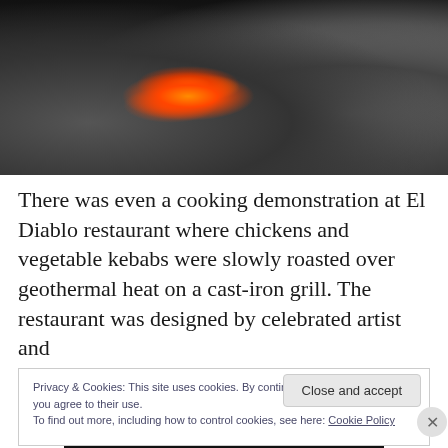[Figure (photo): Dark photo of flames and fire over a grill or volcanic surface, with rocks visible on the sides and bottom, dark smoky background]
There was even a cooking demonstration at El Diablo restaurant where chickens and vegetable kebabs were slowly roasted over geothermal heat on a cast-iron grill. The restaurant was designed by celebrated artist and
Privacy & Cookies: This site uses cookies. By continuing to use this website, you agree to their use.
To find out more, including how to control cookies, see here: Cookie Policy
Close and accept